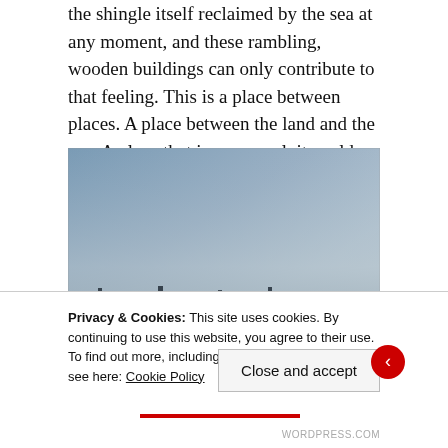the shingle itself reclaimed by the sea at any moment, and these rambling, wooden buildings can only contribute to that feeling. This is a place between places. A place between the land and the sea. A place that is so surreal, it could almost not be real at all.
[Figure (photo): A misty, hazy seascape or coastal scene with a grey-blue sky and dark silhouetted structures barely visible along the bottom horizon.]
Privacy & Cookies: This site uses cookies. By continuing to use this website, you agree to their use.
To find out more, including how to control cookies, see here: Cookie Policy
Close and accept